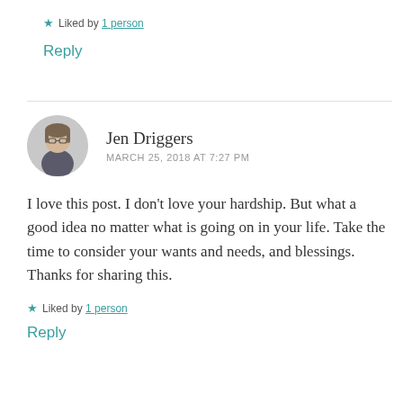★ Liked by 1 person
Reply
Jen Driggers
MARCH 25, 2018 AT 7:27 PM
I love this post. I don't love your hardship. But what a good idea no matter what is going on in your life. Take the time to consider your wants and needs, and blessings. Thanks for sharing this.
★ Liked by 1 person
Reply